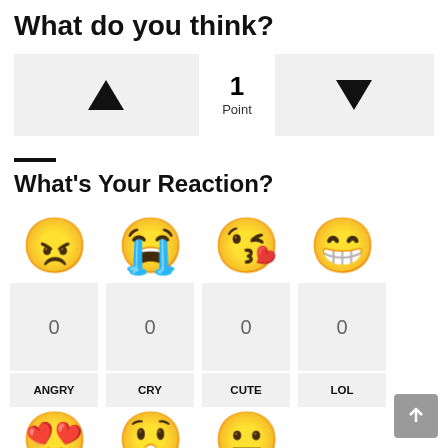What do you think?
[Figure (other): Voting widget with upvote button (triangle up), 1 Point counter, and downvote button (triangle down)]
What's Your Reaction?
[Figure (infographic): Four emoji reaction buttons: ANGRY (angry face emoji, count 0), CRY (crying face emoji, count 0), CUTE (kissing heart emoji, count 0), LOL (laughing emoji, count 0)]
[Figure (other): Partial view of second row of emoji reactions: love eyes emoji, surprised emoji, blank face emoji]